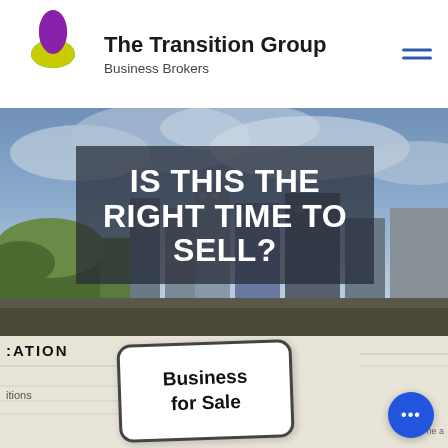[Figure (logo): The Transition Group Business Brokers logo — four-petal flower with red, teal, yellow, purple petals]
The Transition Group
Business Brokers
[Figure (photo): Aerial city skyline with dramatic cloudy sky background for hero section]
IS THIS THE RIGHT TIME TO SELL?
[Figure (photo): Newspaper with Business for Sale sign card in foreground, partial text visible on sides]